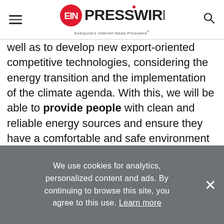EIN PRESSWIRE — Everyone's Internet News Presswire
well as to develop new export-oriented competitive technologies, considering the energy transition and the implementation of the climate agenda. With this, we will be able to provide people with clean and reliable energy sources and ensure they have a comfortable and safe environment to live in. The development of the energy and fuel complex will also help create new jobs. Businesses will launch new manufacturing facilities. Greater opportunities will be available for our people for
We use cookies for analytics, personalized content and ads. By continuing to browse this site, you agree to this use. Learn more